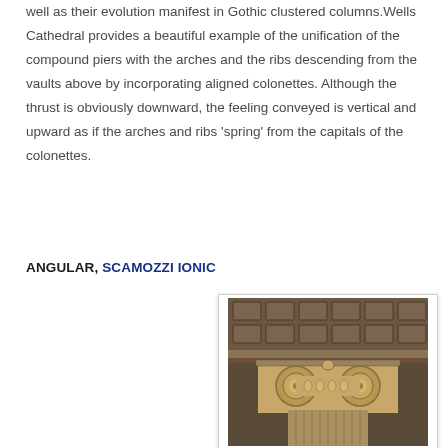well as their evolution manifest in Gothic clustered columns. Wells Cathedral provides a beautiful example of the unification of the compound piers with the arches and the ribs descending from the vaults above by incorporating aligned colonettes. Although the thrust is obviously downward, the feeling conveyed is vertical and upward as if the arches and ribs 'spring' from the capitals of the colonettes.
ANGULAR, SCAMOZZI IONIC
[Figure (photo): Close-up architectural photograph of an ornate classical column capital with Ionic volutes and decorative coffered ceiling above, in warm brown tones.]